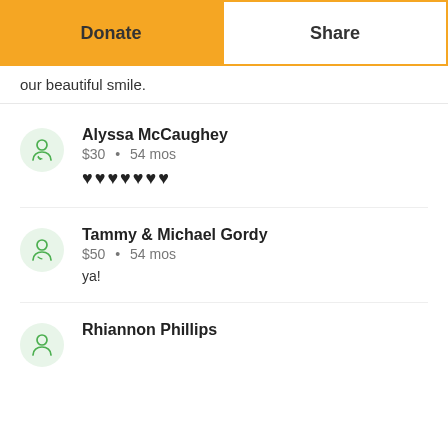our beautiful smile.
Alyssa McCaughey · $30 · 54 mos · ♥♥♥♥♥♥♥
Tammy & Michael Gordy · $50 · 54 mos · ya!
Rhiannon Phillips